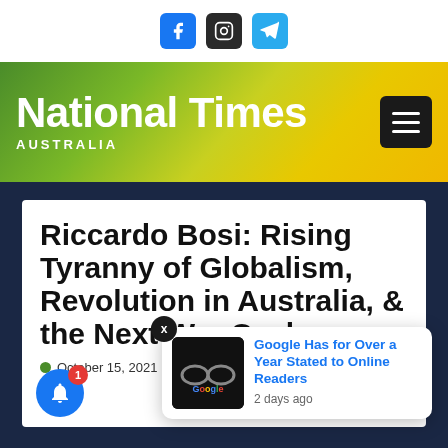[Figure (logo): Social media icons: Facebook (blue), Instagram (dark), Telegram (light blue)]
National Times AUSTRALIA
Riccardo Bosi: Rising Tyranny of Globalism, Revolution in Australia, & the Next War Cycle
October 15, 2021 · No comments
[Figure (infographic): Popup notification card: Google Has for Over a Year Stated to Online Readers, 2 days ago, with Google logo image]
[Figure (infographic): Notification bell button with badge count 1]